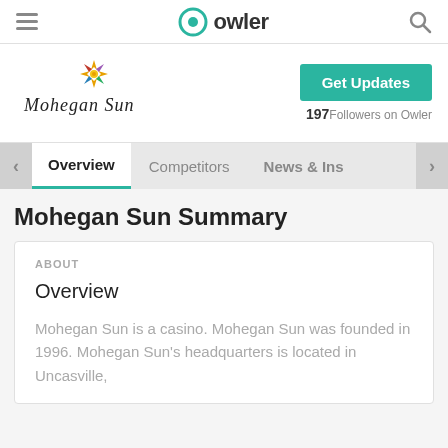owler
[Figure (logo): Mohegan Sun company logo with decorative star/compass graphic and script text]
Get Updates
197 Followers on Owler
Overview | Competitors | News & Ins
Mohegan Sun Summary
ABOUT
Overview
Mohegan Sun is a casino. Mohegan Sun was founded in 1996. Mohegan Sun's headquarters is located in Uncasville,